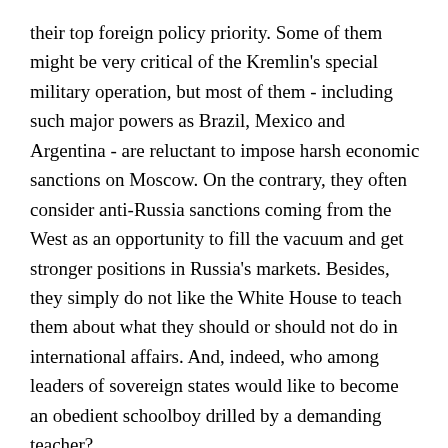their top foreign policy priority. Some of them might be very critical of the Kremlin's special military operation, but most of them - including such major powers as Brazil, Mexico and Argentina - are reluctant to impose harsh economic sanctions on Moscow. On the contrary, they often consider anti-Russia sanctions coming from the West as an opportunity to fill the vacuum and get stronger positions in Russia's markets. Besides, they simply do not like the White House to teach them about what they should or should not do in international affairs. And, indeed, who among leaders of sovereign states would like to become an obedient schoolboy drilled by a demanding teacher?

With China, the chances for US to be successful in LA